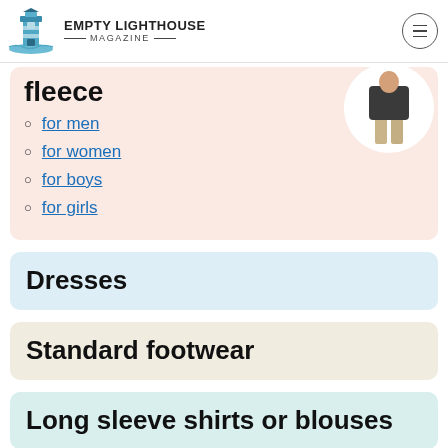EMPTY LIGHTHOUSE MAGAZINE
fleece
for men
for women
for boys
for girls
Dresses
Standard footwear
Long sleeve shirts or blouses